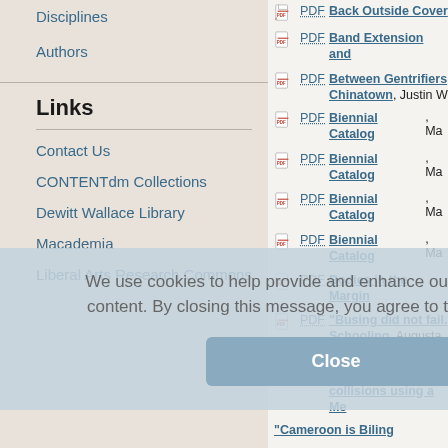Disciplines
Authors
Links
Contact Us
CONTENTdm Collections
Dewitt Wallace Library
Macademia
Liberal Arts Research Commons
PDF Back Outside Cover
PDF Band Extension and
PDF Between Gentrifiers Chinatown, Justin W
PDF Biennial Catalog, Ma
PDF Biennial Catalog, Ma
PDF Biennial Catalog, Ma
PDF Biennial Catalog, Ma
PDF Bodies in the Margin
PDF "Busing did not fail. Schooling, Augusta
PDF Calculating centrality collisions using a Me
"Cameroon is Biling
We use cookies to help provide and enhance our service and tailor content. By closing this message, you agree to the use of cookies.
Close